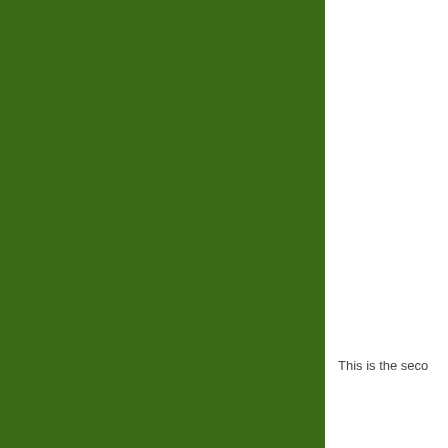[Figure (illustration): Large solid dark green rectangular block occupying the left approximately three-quarters of the page, full height.]
This is the seco